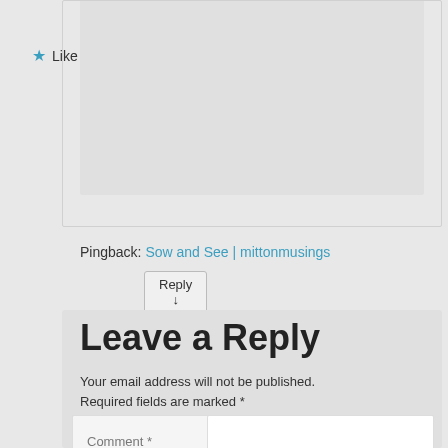★ Like
Reply ↓
Pingback: Sow and See | mittonmusings
Leave a Reply
Your email address will not be published. Required fields are marked *
Comment *